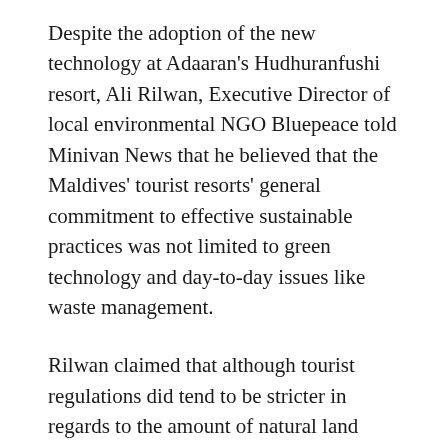Despite the adoption of the new technology at Adaaran's Hudhuranfushi resort, Ali Rilwan, Executive Director of local environmental NGO Bluepeace told Minivan News that he believed that the Maldives' tourist resorts' general commitment to effective sustainable practices was not limited to green technology and day-to-day issues like waste management.
Rilwan claimed that although tourist regulations did tend to be stricter in regards to the amount of natural land being developed and not allowing buildings to tower over an island's tallest trees, other viable development areas included solar and renewable energy technologies.
“I think very few resorts are taking responsibility. Waste management is another vital area and only a few resorts have sewage treatment plants rather